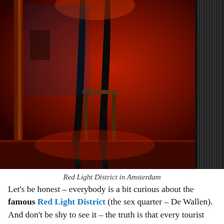[Figure (photo): Dark atmospheric photo of a person in high-heeled boots sitting in a red-lit window display, associated with Amsterdam's Red Light District. The scene is bathed in red light with dark shadows.]
Red Light District in Amsterdam
Let’s be honest – everybody is a bit curious about the famous Red Light District (the sex quarter – De Wallen). And don’t be shy to see it – the truth is that every tourist passes there. It’s just something you can only see in the Netherlands and Belgium: prostitutes displaying themselves in shop-style windows, in rows of identical rooms. Prostitution has been legal here since 1815 and it’s treated like any other business – they pay taxes. The entrances to “rooms” are lit by red light and the girls are, ehm, dressed for the job, and actively inviting the potential
We use cookies to ensure that we give the best user experience on our website. If you continue to use this site, we will assume that you agree.
Accept